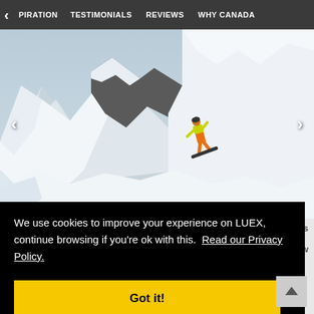PIRATION  TESTIMONIALS  REVIEWS  WHY CANADA
[Figure (photo): A snowboarder in a yellow jacket and orange pants riding on a steep snowy mountain ridge with dramatic snow-covered peaks in the background.]
We use cookies to improve your experience on LUEX, continue browsing if you're ok with this.  Read our Privacy Policy.
Got it!